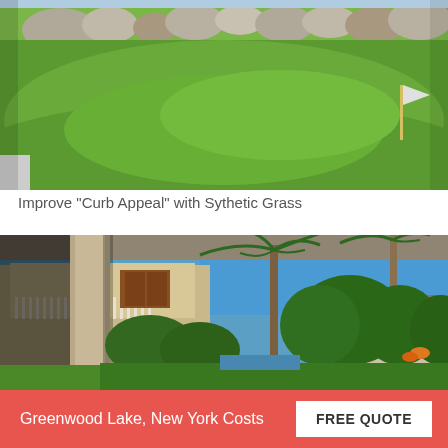[Figure (photo): Aerial or close-up view of lush green synthetic/artificial grass putting green with large rocks and landscaping in background]
Improve "Curb Appeal" with Sythetic Grass
[Figure (photo): Luxury residential property exterior with covered porch column in foreground, palm trees, blue sky, white balconied house and thatched-roof structure in background]
Greenwood Lake, New York Costs
FREE QUOTE